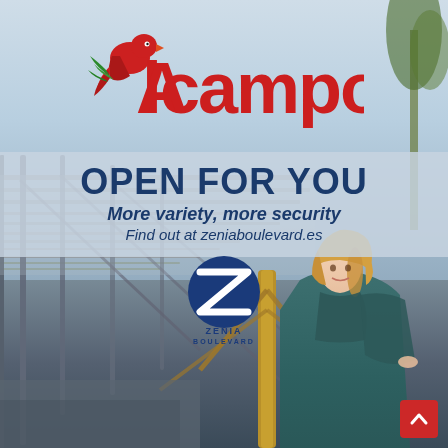[Figure (photo): Alcampo supermarket advertisement at Zenia Boulevard shopping center. Shows a young blonde woman smiling, standing in a modern open-air mall structure with metal framework ceiling/canopy. Background shows architectural elements of the mall.]
Alcampo
OPEN FOR YOU
More variety, more security
Find out at zeniaboulevard.es
[Figure (logo): Zenia Boulevard logo — stylized Z with text ZENIA BOULEVARD below]